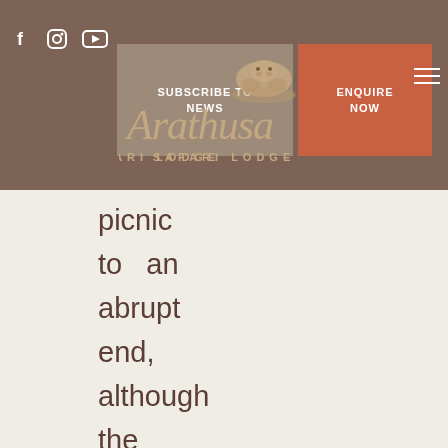Arathusa Safari Lodge website header with Subscribe to News and Enquire Now buttons
[Figure (logo): Arathusa Safari Lodge logo with stylized cursive text and hippo illustration]
picnic to an abrupt end, although the scavengers left as soon as they